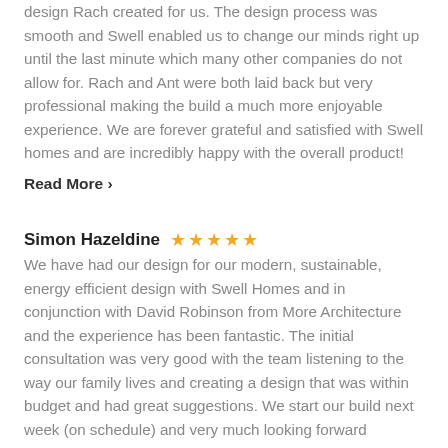design Rach created for us. The design process was smooth and Swell enabled us to change our minds right up until the last minute which many other companies do not allow for. Rach and Ant were both laid back but very professional making the build a much more enjoyable experience. We are forever grateful and satisfied with Swell homes and are incredibly happy with the overall product!
Read More ›
Simon Hazeldine ★★★★★
We have had our design for our modern, sustainable, energy efficient design with Swell Homes and in conjunction with David Robinson from More Architecture and the experience has been fantastic. The initial consultation was very good with the team listening to the way our family lives and creating a design that was within budget and had great suggestions. We start our build next week (on schedule) and very much looking forward